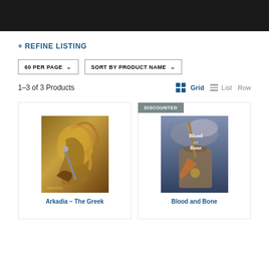+ REFINE LISTING
60 PER PAGE ∨   SORT BY PRODUCT NAME ∨
1–3 of 3 Products   Grid   List   Row
[Figure (illustration): Fantasy battle scene showing a warrior fighting a serpent creature, warm golden tones]
Arkadia – The Greek
[Figure (illustration): Fantasy knight on horseback with a cape, cloudy sky background, book cover titled Blood and Bone]
Blood and Bone